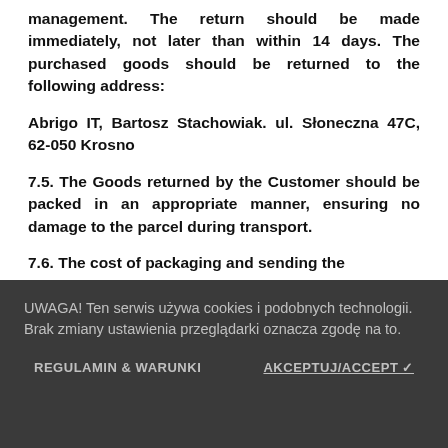change was necessary within the ordinary management. The return should be made immediately, not later than within 14 days. The purchased goods should be returned to the following address:
Abrigo IT, Bartosz Stachowiak. ul. Słoneczna 47C, 62-050 Krosno
7.5. The Goods returned by the Customer should be packed in an appropriate manner, ensuring no damage to the parcel during transport.
7.6. The cost of packaging and sending the
UWAGA! Ten serwis używa cookies i podobnych technologii. Brak zmiany ustawienia przeglądarki oznacza zgodę na to.
REGULAMIN & WARUNKI
AKCEPTUJ/ACCEPT ✓